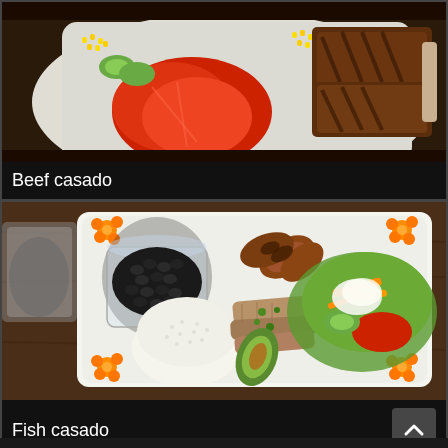[Figure (photo): Photo of a beef casado plate: grilled beef steak with sliced tomatoes, corn, and cucumber on a white plate]
Beef casado
[Figure (photo): Photo of a fish casado plate: grilled fish strips with white rice, black beans in a glass bowl, fried plantains, and a colorful vegetable salad on a white rectangular plate decorated with orange carrot flowers]
Fish casado